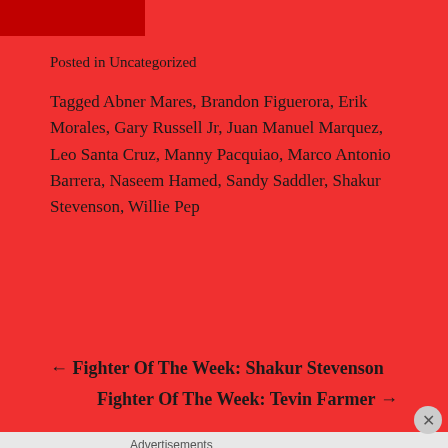Posted in Uncategorized
Tagged Abner Mares, Brandon Figuerora, Erik Morales, Gary Russell Jr, Juan Manuel Marquez, Leo Santa Cruz, Manny Pacquiao, Marco Antonio Barrera, Naseem Hamed, Sandy Saddler, Shakur Stevenson, Willie Pep
← Fighter Of The Week: Shakur Stevenson
Fighter Of The Week: Tevin Farmer →
Advertisements
[Figure (other): Advertisement banner: Create surveys, polls, quizzes, and forms. WordPress and SurveyMonkey logos.]